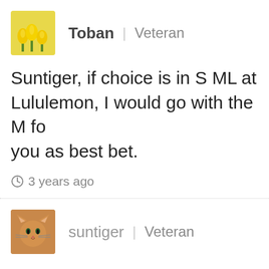Toban | Veteran
Suntiger, if choice is in S ML at Lululemon, I would go with the M fo you as best bet.
3 years ago
suntiger | Veteran